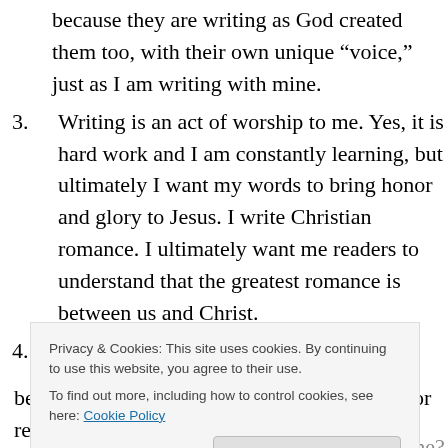because they are writing as God created them too, with their own unique “voice,” just as I am writing with mine.
3. Writing is an act of worship to me. Yes, it is hard work and I am constantly learning, but ultimately I want my words to bring honor and glory to Jesus. I write Christian romance. I ultimately want me readers to understand that the greatest romance is between us and Christ.
4. Writing is a community endeavor. How would I grow without submitting myself and my work to the eyes and wisdom of those who have come before me? I may put
Privacy & Cookies: This site uses cookies. By continuing to use this website, you agree to their use.
To find out more, including how to control cookies, see here: Cookie Policy
best work ever – until I get my line edits and or read it